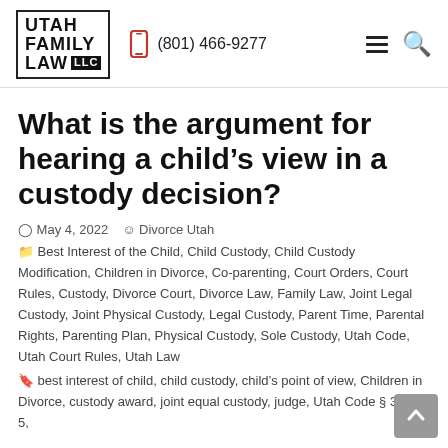Utah Family Law LLC | (801) 466-9277
What is the argument for hearing a child's view in a custody decision?
May 4, 2022 | Divorce Utah
Best Interest of the Child, Child Custody, Child Custody Modification, Children in Divorce, Co-parenting, Court Orders, Court Rules, Custody, Divorce Court, Divorce Law, Family Law, Joint Legal Custody, Joint Physical Custody, Legal Custody, Parent Time, Parental Rights, Parenting Plan, Physical Custody, Sole Custody, Utah Code, Utah Court Rules, Utah Law
best interest of child, child custody, child's point of view, Children in Divorce, custody award, joint equal custody, judge, Utah Code § 30-3-5,